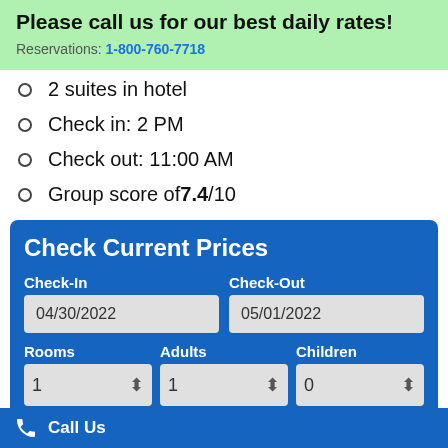Please call us for our best daily rates!
Reservations: 1-800-760-7718
2 suites in hotel
Check in: 2 PM
Check out: 11:00 AM
Group score of 7.4/10
Check Current Prices
Check-In: 04/30/2022, Check-Out: 05/01/2022, Rooms: 1, Adults: 1, Children: 0
Call Us